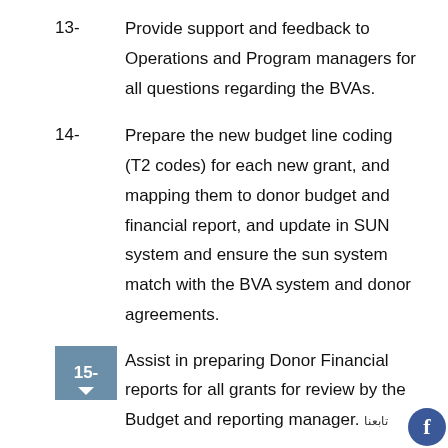13-   Provide support and feedback to Operations and Program managers for all questions regarding the BVAs.
14-   Prepare the new budget line coding (T2 codes) for each new grant, and mapping them to donor budget and financial report, and update in SUN system and ensure the sun system match with the BVA system and donor agreements.
15-   Assist in preparing Donor Financial reports for all grants for review by the Budget and reporting manager.